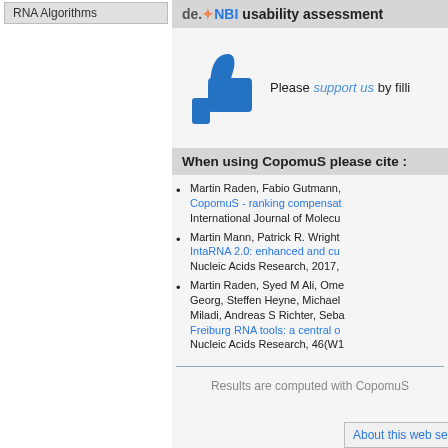RNA Algorithms
de.NBI usability assessment
[Figure (illustration): Blue thumbs up icon]
Please support us by filli...
When using CopomuS please cite :
Martin Raden, Fabio Gutmann, ... CopomuS - ranking compensat... International Journal of Molecu...
Martin Mann, Patrick R. Wright... IntaRNA 2.0: enhanced and cu... Nucleic Acids Research, 2017,...
Martin Raden, Syed M Ali, Ome... Georg, Steffen Heyne, Michael... Miladi, Andreas S Richter, Seba... Freiburg RNA tools: a central o... Nucleic Acids Research, 46(W1...
Results are computed with CopomuS
About this web server | ve...